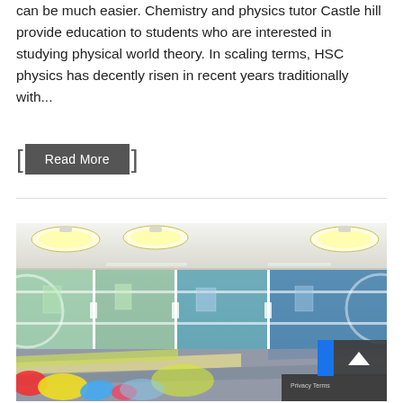can be much easier. Chemistry and physics tutor Castle hill provide education to students who are interested in studying physical world theory. In scaling terms, HSC physics has decently risen in recent years traditionally with...
Read More
[Figure (photo): Interior photo of a modern educational facility showing a glass-walled classroom or learning space. Large glass sliding panels reveal a colorful room with green, blue and yellow flooring patterns. Round pendant lights hang from the ceiling. Colorful bean bags (red, yellow, blue) are visible in the foreground. A Google Street View privacy bar and scroll-to-top button appear in the bottom right corner.]